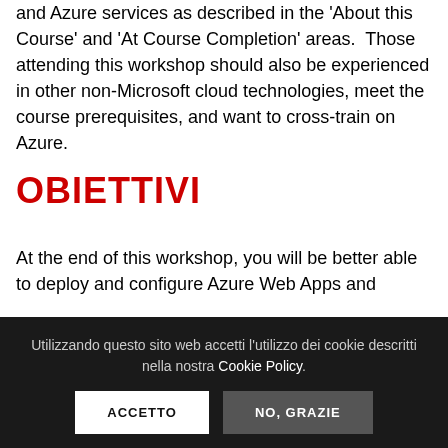and Azure services as described in the 'About this Course' and 'At Course Completion' areas.  Those attending this workshop should also be experienced in other non-Microsoft cloud technologies, meet the course prerequisites, and want to cross-train on Azure.
OBIETTIVI
At the end of this workshop, you will be better able to deploy and configure Azure Web Apps and
Utilizzando questo sito web accetti l'utilizzo dei cookie descritti nella nostra Cookie Policy.
ACCETTO
NO, GRAZIE